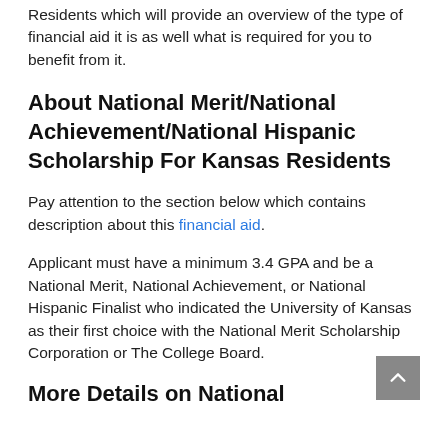Residents which will provide an overview of the type of financial aid it is as well what is required for you to benefit from it.
About National Merit/National Achievement/National Hispanic Scholarship For Kansas Residents
Pay attention to the section below which contains description about this financial aid.
Applicant must have a minimum 3.4 GPA and be a National Merit, National Achievement, or National Hispanic Finalist who indicated the University of Kansas as their first choice with the National Merit Scholarship Corporation or The College Board.
More Details on National